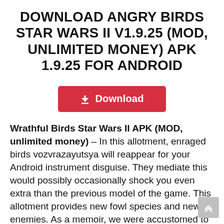DOWNLOAD ANGRY BIRDS STAR WARS II V1.9.25 (MOD, UNLIMITED MONEY) APK 1.9.25 FOR ANDROID
[Figure (other): Red download button with download icon and text 'Download']
Wrathful Birds Star Wars II APK (MOD, unlimited money) – In this allotment, enraged birds vozvrazayutsya will reappear for your Android instrument disguise. They mediate this would possibly occasionally shock you even extra than the previous model of the game. This allotment provides new fowl species and new enemies. As a memoir, we were accustomed to seeing it. As consistently, there used to be no name, the inexperienced pig birds' eggs were stolen and it's